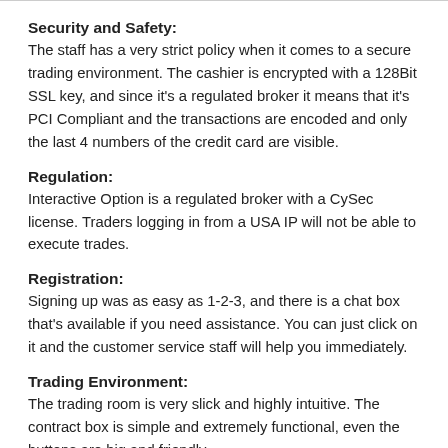Security and Safety:
The staff has a very strict policy when it comes to a secure trading environment. The cashier is encrypted with a 128Bit SSL key, and since it's a regulated broker it means that it's PCI Compliant and the transactions are encoded and only the last 4 numbers of the credit card are visible.
Regulation:
Interactive Option is a regulated broker with a CySec license. Traders logging in from a USA IP will not be able to execute trades.
Registration:
Signing up was as easy as 1-2-3, and there is a chat box that's available if you need assistance. You can just click on it and the customer service staff will help you immediately.
Trading Environment:
The trading room is very slick and highly intuitive. The contract box is simple and extremely functional, even the buttons are big and friendly.
Promotions and Bonuses:
Bonuses are tailor made and are credited on a case-by-case basis, the policies are very meticulous, and this means two things. The first and the